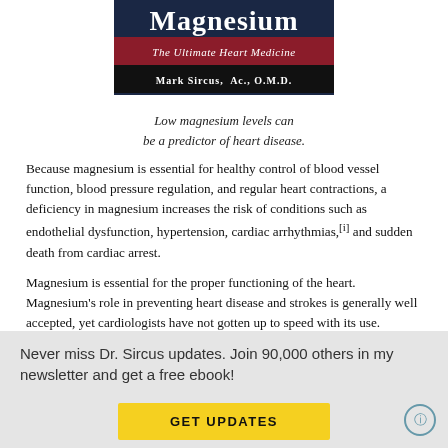[Figure (photo): Book cover for 'Magnesium: The Ultimate Heart Medicine' by Mark Sircus, Ac., O.M.D. Dark navy background with title in white, red subtitle bar, black author bar.]
Low magnesium levels can be a predictor of heart disease.
Because magnesium is essential for healthy control of blood vessel function, blood pressure regulation, and regular heart contractions, a deficiency in magnesium increases the risk of conditions such as endothelial dysfunction, hypertension, cardiac arrhythmias,[i] and sudden death from cardiac arrest.
Magnesium is essential for the proper functioning of the heart. Magnesium's role in preventing heart disease and strokes is generally well accepted, yet cardiologists have not gotten up to speed with its use.
Never miss Dr. Sircus updates. Join 90,000 others in my newsletter and get a free ebook!